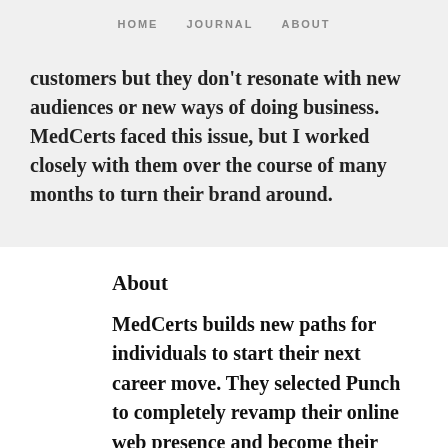HOME   JOURNAL   ABOUT
customers but they don't resonate with new audiences or new ways of doing business. MedCerts faced this issue, but I worked closely with them over the course of many months to turn their brand around.
About
MedCerts builds new paths for individuals to start their next career move. They selected Punch to completely revamp their online web presence and become their technical partner. We always had the goal of owning the web and taking it from obstacle to competitive advantage in